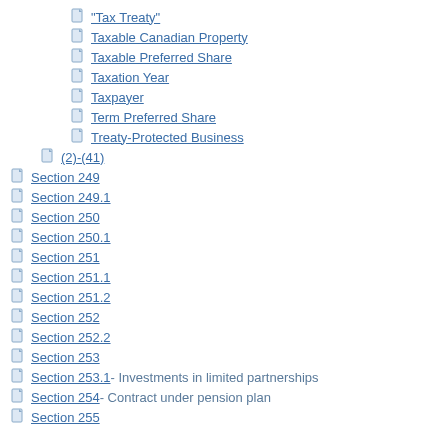"Tax Treaty"
Taxable Canadian Property
Taxable Preferred Share
Taxation Year
Taxpayer
Term Preferred Share
Treaty-Protected Business
(2)-(41)
Section 249
Section 249.1
Section 250
Section 250.1
Section 251
Section 251.1
Section 251.2
Section 252
Section 252.2
Section 253
Section 253.1 - Investments in limited partnerships
Section 254 - Contract under pension plan
Section 255